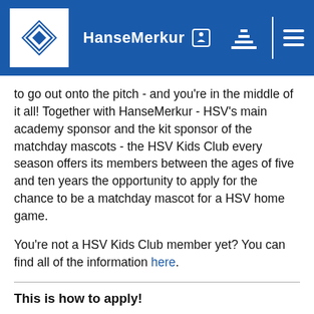[Figure (logo): HSV Hamburg diamond logo in white square with blue border, HanseMerkur sponsor text with health icon, Adidas logo, and hamburger menu icon in blue header bar]
to go out onto the pitch - and you're in the middle of it all! Together with HanseMerkur - HSV's main academy sponsor and the kit sponsor of the matchday mascots - the HSV Kids Club every season offers its members between the ages of five and ten years the opportunity to apply for the chance to be a matchday mascot for a HSV home game.
You're not a HSV Kids Club member yet? You can find all of the information here.
This is how to apply!
Show us who your favourite HSV player is. It doesn't matter if it's a photo, a picture you've drawn, a poem or a video. We don't want to limit